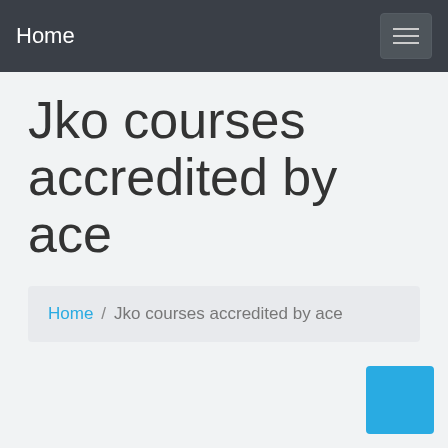Home
Jko courses accredited by ace
Home / Jko courses accredited by ace